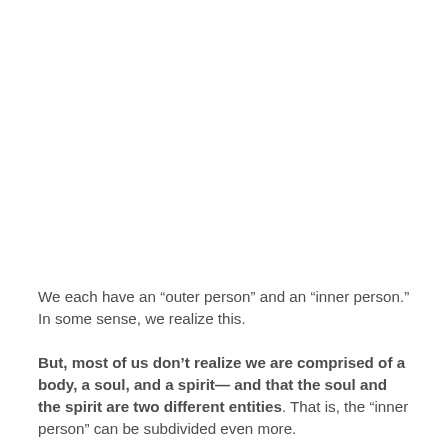We each have an “outer person” and an “inner person.” In some sense, we realize this.
But, most of us don’t realize we are comprised of a body, a soul, and a spirit— and that the soul and the spirit are two different entities. That is, the “inner person” can be subdivided even more.